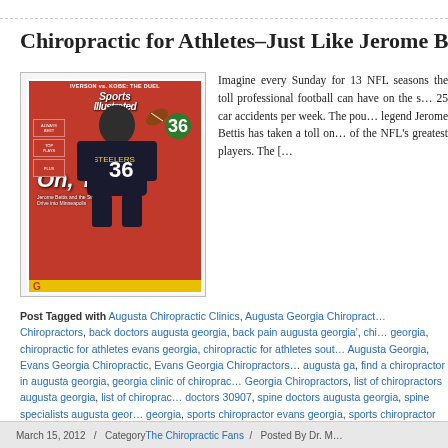Chiropractic for Athletes–Just Like Jerome B
[Figure (photo): Sports Illustrated magazine cover featuring Jerome Bettis (#36) of the Pittsburgh Steelers in action. Headline reads 'Oh, Yeah!' with text 'Jerome Bettis and the Steelers Drive Into Minneapolis'. Top bar reads 'IVERSON vs. KOBE: THE DUEL'. Red background with yellow bottom bar.]
Imagine every Sunday for 13 NFL seasons the toll professional football can have on the s... 25 car accidents per week. The pou... legend Jerome Bettis has taken a toll on... of the NFL's greatest players. The [...]
Post Tagged with Augusta Chiropractic Clinics, Augusta Georgia Chiropract... Chiropractors, back doctors augusta georgia, back pain augusta georgia', chi... georgia, chiropractic for athletes evans georgia, chiropractic for athletes sout... Augusta Georgia, Evans Georgia Chiropractic, Evans Georgia Chiropractors... augusta ga, find a chiropractor in augusta georgia, georgia clinic of chiropra... Georgia Chiropractors, list of chiropractors augusta georgia, list of chiroprac... doctors 30907, spine doctors augusta georgia, spine specialists augusta geor... georgia, sports chiropractor evans georgia, sports chiropractor martinez geor... georgia, sports doctor evans georgia, sports injuries augusta ga, sports injurie... martinez georgia, sports injuries north augusta sc, sports injury chiropractor
March 15, 2012   /  Category The Chiropractic Fans  /  Posted By Dr. M...